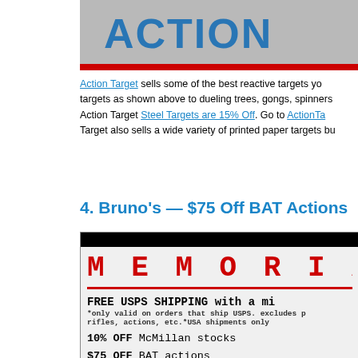[Figure (photo): Banner image showing blue letters/logo on a gravel/concrete surface with a red bar at the bottom]
Action Target sells some of the best reactive targets you can find, ranging from targets as shown above to dueling trees, gongs, spinners, and more. Right now, Action Target Steel Targets are 15% Off. Go to ActionTarget.com to see... Action Target also sells a wide variety of printed paper targets bu...
4. Bruno's — $75 Off BAT Actions...
[Figure (screenshot): Bruno's advertisement showing MEMORIAL text in red with courier font, free USPS shipping offer, 10% OFF McMillan stocks, $75 OFF BAT actions, FREE SHIPPING on Krieger barrels]